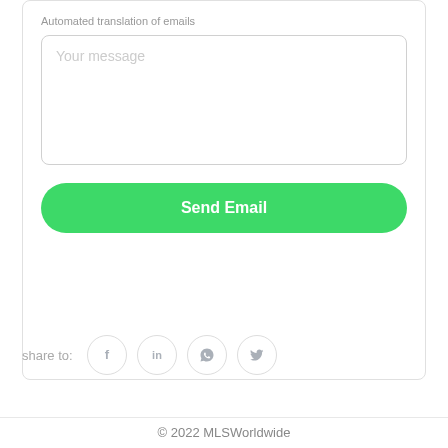Automated translation of emails
Your message
Send Email
share to:
[Figure (infographic): Social share icons: Facebook (f), LinkedIn (in), WhatsApp (phone handset), Twitter (bird) — each in a circular border]
© 2022 MLSWorldwide